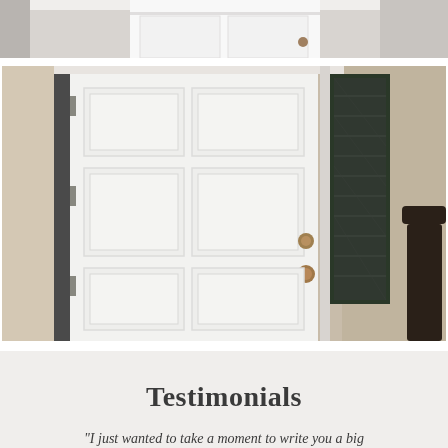[Figure (photo): Partial top photo showing what appears to be a covered entryway or porch with light-colored walls and ceiling]
[Figure (photo): Photo of a white six-panel front door with brass door handles/knobs, a decorative sidelight window with dark glass on the right side, beige stucco walls on both sides, and a dark handrail visible on the right edge]
Testimonials
"I just wanted to take a moment to write you a big